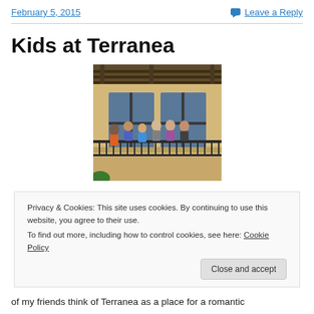February 5, 2015   Leave a Reply
Kids at Terranea
[Figure (photo): Group of people standing on a hotel balcony with wrought iron railing, Mediterranean-style architecture with wooden pergola above]
Privacy & Cookies: This site uses cookies. By continuing to use this website, you agree to their use.
To find out more, including how to control cookies, see here: Cookie Policy
of my friends think of Terranea as a place for a romantic